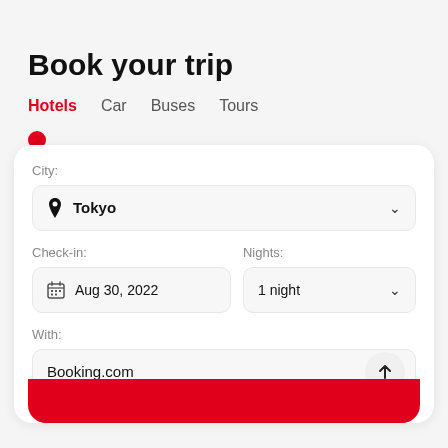Book your trip
Hotels  Car  Buses  Tours
[Figure (screenshot): Hotel booking form with City field showing Tokyo, Check-in date Aug 30 2022, Nights showing 1 night, and With field showing Booking.com. Red circular dot and partial red button at bottom.]